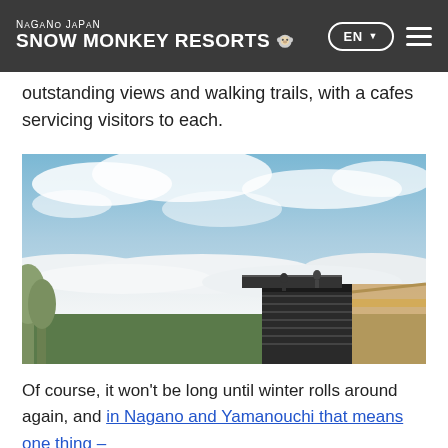NAGANO JAPAN SNOW MONKEY RESORTS
outstanding views and walking trails, with a cafes servicing visitors to each.
[Figure (photo): Panoramic view from a mountain observation deck above a sea of clouds, with trees on the left and a dark-colored modern platform structure on the right, blue sky with clouds above.]
Of course, it won't be long until winter rolls around again, and in Nagano and Yamanouchi that means one thing –